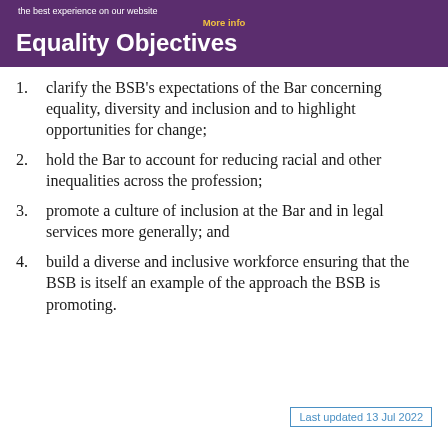the best experience on our website
Equality Objectives
clarify the BSB's expectations of the Bar concerning equality, diversity and inclusion and to highlight opportunities for change;
hold the Bar to account for reducing racial and other inequalities across the profession;
promote a culture of inclusion at the Bar and in legal services more generally; and
build a diverse and inclusive workforce ensuring that the BSB is itself an example of the approach the BSB is promoting.
Last updated 13 Jul 2022